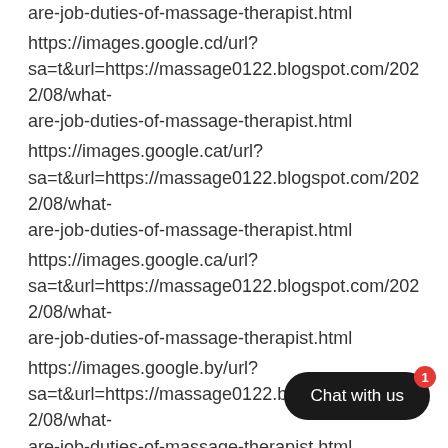are-job-duties-of-massage-therapist.html
https://images.google.cd/url?sa=t&url=https://massage0122.blogspot.com/2022/08/what-are-job-duties-of-massage-therapist.html
https://images.google.cat/url?sa=t&url=https://massage0122.blogspot.com/2022/08/what-are-job-duties-of-massage-therapist.html
https://images.google.ca/url?sa=t&url=https://massage0122.blogspot.com/2022/08/what-are-job-duties-of-massage-therapist.html
https://images.google.by/url?sa=t&url=https://massage0122.blogspot.com/2022/08/what-are-job-duties-of-massage-therapist.html
https://images.google.bs/url?sa=t&url=https://massage0122.blogspot.com/2022/08/what-are-job-duties-of-massage-therapist.html
are-job-duties-of-massage-therapist.
https://images.google.bi/url?
[Figure (other): Chat with us button overlay with red notification badge showing number 1]